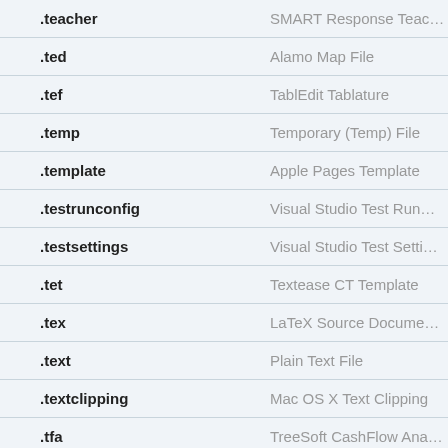| Extension | Description |
| --- | --- |
| .teacher | SMART Response Teacher File |
| .ted | Alamo Map File |
| .tef | TablEdit Tablature |
| .temp | Temporary (Temp) File |
| .template | Apple Pages Template |
| .testrunconfig | Visual Studio Test Run Configuration |
| .testsettings | Visual Studio Test Settings |
| .tet | Textease CT Template |
| .tex | LaTeX Source Document |
| .text | Plain Text File |
| .textclipping | Mac OS X Text Clipping |
| .tfa | TreeSoft CashFlow Analyzer File |
| .tfd | Tape Format Requirements Document |